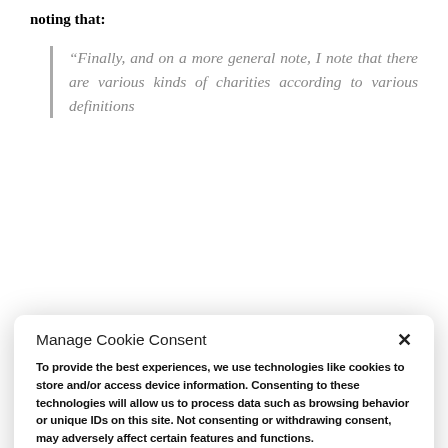noting that:
“Finally, and on a more general note, I note that there are various kinds of charities according to various definitions
Manage Cookie Consent
To provide the best experiences, we use technologies like cookies to store and/or access device information. Consenting to these technologies will allow us to process data such as browsing behavior or unique IDs on this site. Not consenting or withdrawing consent, may adversely affect certain features and functions.
ACCEPT
DENY
Privacy Policy & Terms of Use